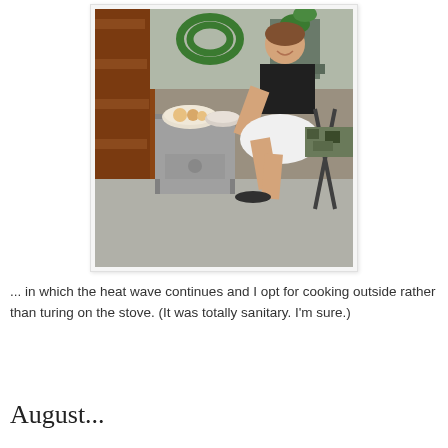[Figure (photo): A woman in a black top and white skirt sits on a camouflage folding chair outdoors on a concrete patio, cutting food at a small grey bedside table with bowls on it. A green hose and brick wall are visible in the background.]
... in which the heat wave continues and I opt for cooking outside rather than turing on the stove. (It was totally sanitary. I'm sure.)
August...